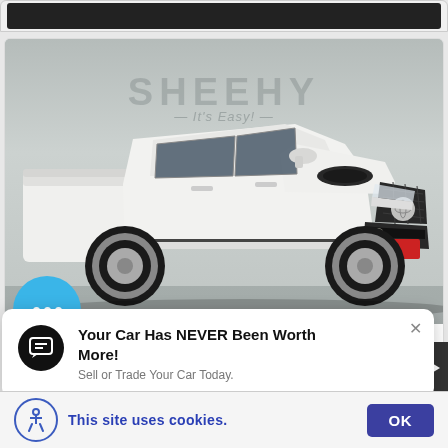[Figure (photo): White Toyota Tacoma TRD Sport pickup truck in a Sheehy dealership showroom. The truck faces right, showing front three-quarter view. 'SHEEHY — It's Easy! —' logo visible on the showroom wall in the background.]
Your Car Has NEVER Been Worth More! Sell or Trade Your Car Today.
This site uses cookies.